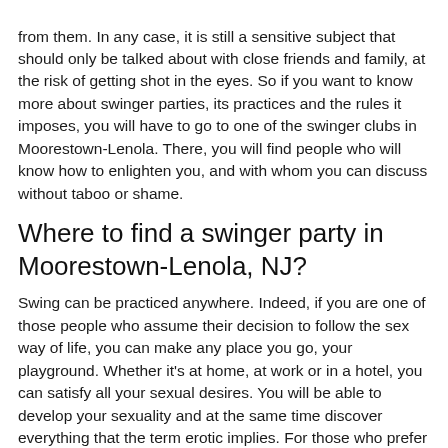from them. In any case, it is still a sensitive subject that should only be talked about with close friends and family, at the risk of getting shot in the eyes. So if you want to know more about swinger parties, its practices and the rules it imposes, you will have to go to one of the swinger clubs in Moorestown-Lenola. There, you will find people who will know how to enlighten you, and with whom you can discuss without taboo or shame.
Where to find a swinger party in Moorestown-Lenola, NJ?
Swing can be practiced anywhere. Indeed, if you are one of those people who assume their decision to follow the sex way of life, you can make any place you go, your playground. Whether it's at home, at work or in a hotel, you can satisfy all your sexual desires. You will be able to develop your sexuality and at the same time discover everything that the term erotic implies. For those who prefer places specially designed for the occasion, you will have the choice between swingers club, sauna, hammam, spa and hotel.